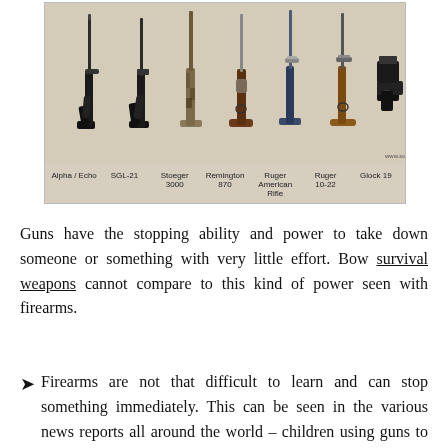[Figure (photo): Photo showing six firearms lined up side by side with labels: Alpha / Echo, SGL-21, Stoeger 3000, Remington 870, Ruger American Rifle, Ruger 10-22, Glock 19. Watermark: www.survivopedia.com]
Guns have the stopping ability and power to take down someone or something with very little effort. Bow survival weapons cannot compare to this kind of power seen with firearms.
Firearms are not that difficult to learn and can stop something immediately. This can be seen in the various news reports all around the world – children using guns to hold off intruders in their